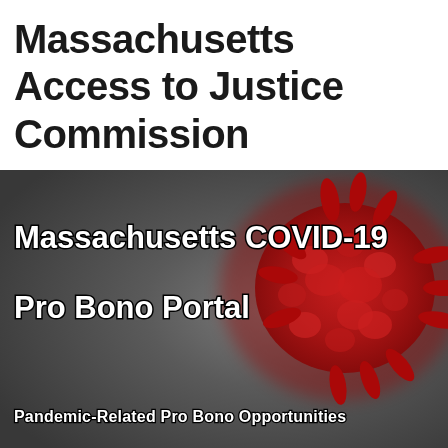Massachusetts Access to Justice Commission
[Figure (photo): Banner image with dark gray blurred background and a red COVID-19 coronavirus particle on the right side. White bold text reads 'Massachusetts COVID-19 Pro Bono Portal' and 'Pandemic-Related Pro Bono Opportunities' at the bottom.]